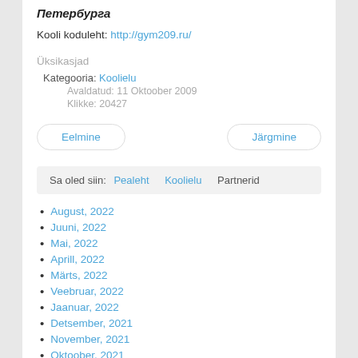Петербурга
Kooli koduleht: http://gym209.ru/
Üksikasjad
Kategooria: Koolielu
Avaldatud: 11 Oktoober 2009
Klikke: 20427
Eelmine | Järgmine
Sa oled siin: Pealeht Koolielu Partnerid
August, 2022
Juuni, 2022
Mai, 2022
Aprill, 2022
Märts, 2022
Veebruar, 2022
Jaanuar, 2022
Detsember, 2021
November, 2021
Oktoober, 2021